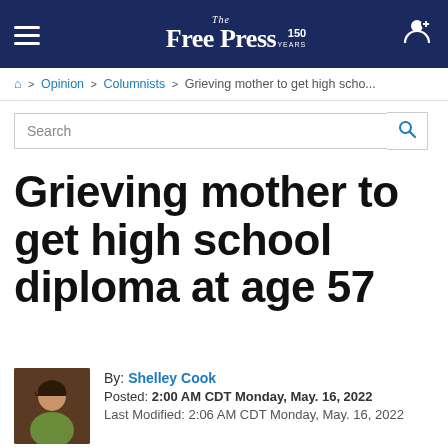The Free Press 150 YEARS
⌂ > Opinion > Columnists > Grieving mother to get high scho...
Search
Grieving mother to get high school diploma at age 57
By: Shelley Cook
Posted: 2:00 AM CDT Monday, May. 16, 2022
Last Modified: 2:06 AM CDT Monday, May. 16, 2022